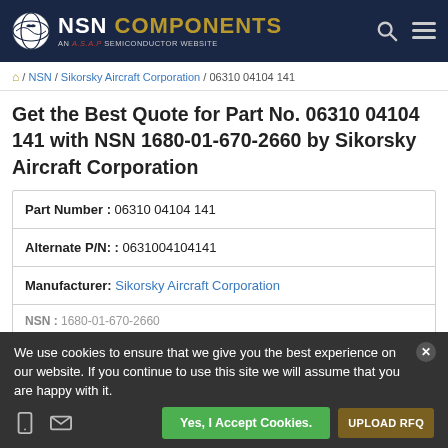NSN COMPONENTS — AN A.S.A.P SEMICONDUCTOR WEBSITE
/ NSN / Sikorsky Aircraft Corporation / 06310 04104 141
Get the Best Quote for Part No. 06310 04104 141 with NSN 1680-01-670-2660 by Sikorsky Aircraft Corporation
| Part Number : | 06310 04104 141 |
| Alternate P/N: : | 0631004104141 |
| Manufacturer: | Sikorsky Aircraft Corporation |
We use cookies to ensure that we give you the best experience on our website. If you continue to use this site we will assume that you are happy with it.